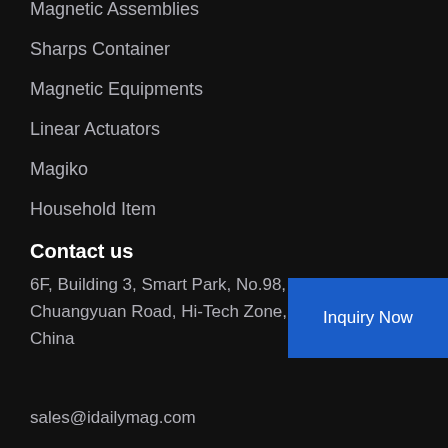Magnetic Assemblies
Sharps Container
Magnetic Equipments
Linear Actuators
Magiko
Household Item
Contact us
6F, Building 3, Smart Park, No.98, Chuangyuan Road, Hi-Tech Zone, China
Inquiry Now
sales@idailymag.com